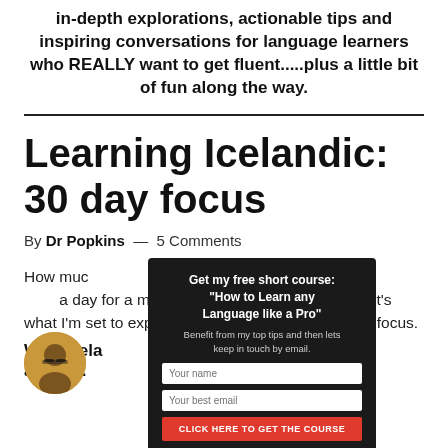in-depth explorations, actionable tips and inspiring conversations for language learners who REALLY want to get fluent.....plus a little bit of fun along the way.
Learning Icelandic: 30 day focus
By Dr Popkins — 5 Comments
How much [can you make learning a new language] a day for a month and how should you [spend it]? That's what I'm set to explore in [this] mi[ni Icela]ndic 30 day focus.
[Figure (screenshot): Popup overlay with dark background: 'Get my free short course: "How to Learn any Language like a Pro"'. Subtext: 'Benefit from my top tips and then lets keep in touch by email.' Two input fields (Your name, Your best email) and a red button 'CLICK HERE TO GET THE COURSE'.]
Why Icelandic? The superficial answer.